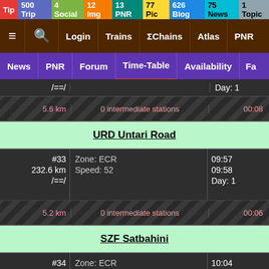Tip 500 | Trip 4 | Social 12 | Img 13 | PNR 13 | Pic 77 | Blog 626 | News 75 | Topic 1
≡  🔍  Login  Trains  ΣChains  Atlas  PNR
News | PNR | Forum | Time-Table | Availability | Fa
| Station | Zone/Speed | Time |
| --- | --- | --- |
| /==/ |  | Day: 1 |
| 5.6 km | 0 intermediate stations | 00:08 |
| URD Untari Road |  |  |
| #33 232.6 km /==/ | Zone: ECR   Speed: 52 | 09:57 09:58 Day: 1 |
| 5.2 km | 0 intermediate stations | 00:06 |
| SZF Satbahini |  |  |
| #34 237.9 km /==/ | Zone: ECR   Speed: 56 | 10:04 10:05 D |
| 6.5 km | 0 intermediate stations |  |